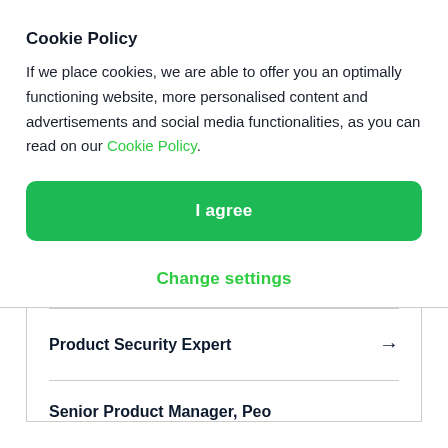Cookie Policy
If we place cookies, we are able to offer you an optimally functioning website, more personalised content and advertisements and social media functionalities, as you can read on our Cookie Policy.
I agree
Change settings
Product Security Expert →
Senior Product Manager, People...